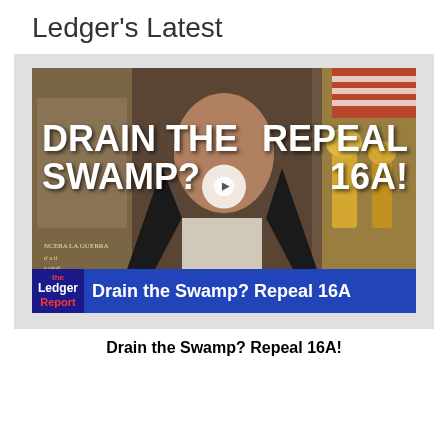Ledger's Latest
[Figure (screenshot): Video thumbnail showing a man in a dark suit with overlaid text 'DRAIN THE SWAMP?' on the left and 'REPEAL 16A!' on the right, with a play button in the center. A lower bar shows 'Ledger Report' logo and title 'Drain the Swamp? Repeal 16A']
Drain the Swamp? Repeal 16A!